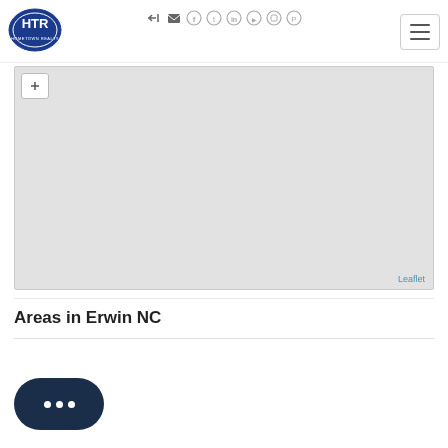[Figure (logo): HTR HomeTowne Realty oval blue logo]
[Figure (screenshot): Navigation icon bar with login, email, facebook, twitter, linkedin, youtube, instagram, pinterest icons]
[Figure (screenshot): Hamburger menu button top right]
[Figure (map): Leaflet map showing grey area map for Erwin NC with zoom control]
Areas in Erwin NC
[Figure (screenshot): Dark navy chat bubble widget with three white dots]